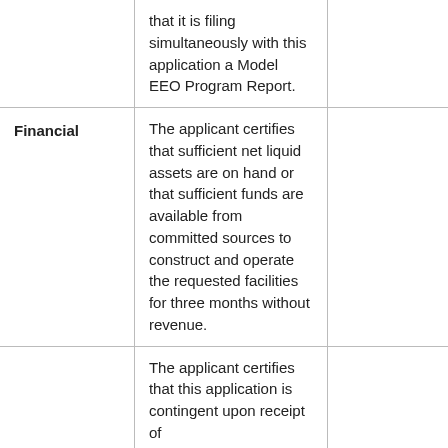|  | that it is filing simultaneously with this application a Model EEO Program Report. |  |
| Financial | The applicant certifies that sufficient net liquid assets are on hand or that sufficient funds are available from committed sources to construct and operate the requested facilities for three months without revenue. |  |
|  | The applicant certifies that this application is contingent upon receipt of... |  |